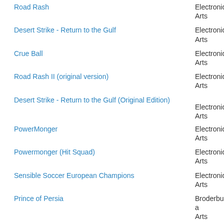Road Rash | Electronic Arts
Desert Strike - Return to the Gulf | Electronic Arts
Crue Ball | Electronic Arts
Road Rash II (original version) | Electronic Arts
Desert Strike - Return to the Gulf (Original Edition) | Electronic Arts
PowerMonger | Electronic Arts
Powermonger (Hit Squad) | Electronic Arts
Sensible Soccer European Champions | Electronic Arts
Prince of Persia | Broderbund and Arts
Global Effect | Electronic Arts
Yo! Joe! | Electronic Arts
FIFA International Soccer | Electronic Arts
V For Victory: Market Garden | Electronic Arts
American Revolt | Electronic Arts